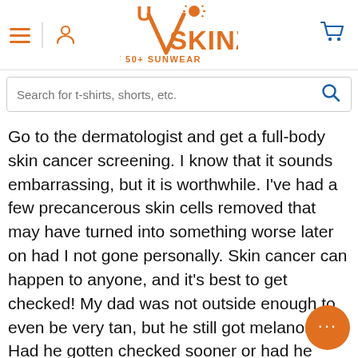USkinz UPF 50+ SUNWEAR — navigation header with hamburger menu, user icon, logo, and cart icon
Search for t-shirts, shorts, etc.
Go to the dermatologist and get a full-body skin cancer screening. I know that it sounds embarrassing, but it is worthwhile. I've had a few precancerous skin cells removed that may have turned into something worse later on had I not gone personally. Skin cancer can happen to anyone, and it's best to get checked! My dad was not outside enough to even be very tan, but he still got melanoma. Had he gotten checked sooner or had he been on a regular schedule exams (like once a year), he probably would alive even now. Skin cancer kills by moving the